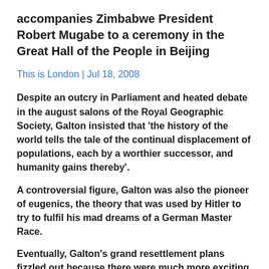accompanies Zimbabwe President Robert Mugabe to a ceremony in the Great Hall of the People in Beijing
This is London | Jul 18, 2008
Despite an outcry in Parliament and heated debate in the august salons of the Royal Geographic Society, Galton insisted that ‘the history of the world tells the tale of the continual displacement of populations, each by a worthier successor, and humanity gains thereby’.
A controversial figure, Galton was also the pioneer of eugenics, the theory that was used by Hitler to try to fulfil his mad dreams of a German Master Race.
Eventually, Galton’s grand resettlement plans fizzled out because there were much more exciting things